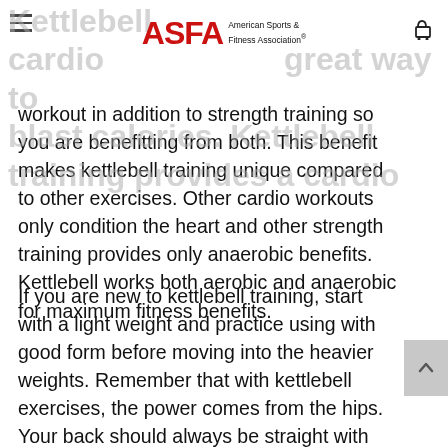Kettlebell cardio ... great way to blast calories. Kettlebell training provides a cardio [ASFA American Sports & Fitness Association logo]
workout in addition to strength training so you are benefitting from both. This benefit makes kettlebell training unique compared to other exercises. Other cardio workouts only condition the heart and other strength training provides only anaerobic benefits. Kettlebell works both aerobic and anaerobic for maximum fitness benefits.
If you are new to kettlebell training, start with a light weight and practice using with good form before moving into the heavier weights. Remember that with kettlebell exercises, the power comes from the hips. Your back should always be straight with good posture. Consistent kettlebell training will help improve your posture